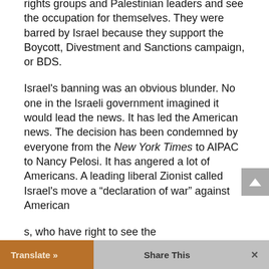rights groups and Palestinian leaders and see the occupation for themselves. They were barred by Israel because they support the Boycott, Divestment and Sanctions campaign, or BDS.
Israel's banning was an obvious blunder. No one in the Israeli government imagined it would lead the news. It has led the American news. The decision has been condemned by everyone from the New York Times to AIPAC to Nancy Pelosi. It has angered a lot of Americans. A leading liberal Zionist called Israel's move a “declaration of war” against American
s, who have right to see the
Translate »   Share This   ×